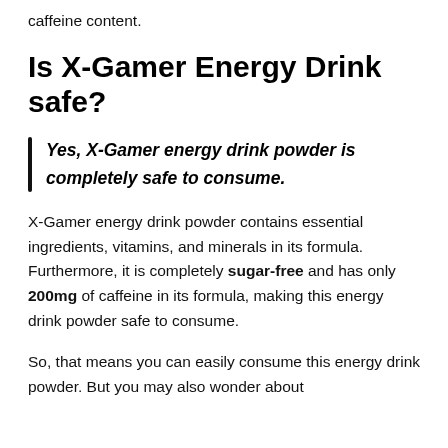caffeine content.
Is X-Gamer Energy Drink safe?
Yes, X-Gamer energy drink powder is completely safe to consume.
X-Gamer energy drink powder contains essential ingredients, vitamins, and minerals in its formula. Furthermore, it is completely sugar-free and has only 200mg of caffeine in its formula, making this energy drink powder safe to consume.
So, that means you can easily consume this energy drink powder. But you may also wonder about...